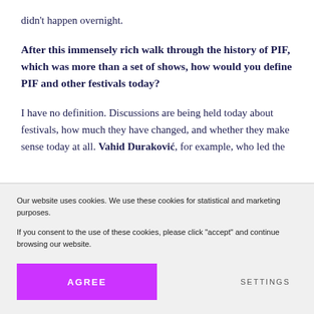didn't happen overnight.
After this immensely rich walk through the history of PIF, which was more than a set of shows, how would you define PIF and other festivals today?
I have no definition. Discussions are being held today about festivals, how much they have changed, and whether they make sense today at all. Vahid Duraković, for example, who led the
Our website uses cookies. We use these cookies for statistical and marketing purposes.
If you consent to the use of these cookies, please click "accept" and continue browsing our website.
AGREE
SETTINGS